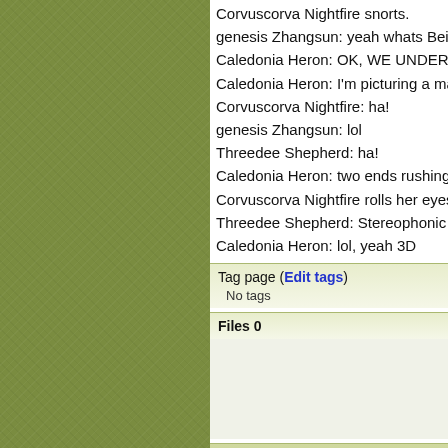Corvuscorva Nightfire snorts.
genesis Zhangsun: yeah whats Being's
Caledonia Heron: OK, WE UNDERSTA
Caledonia Heron: I'm picturing a mash
Corvuscorva Nightfire: ha!
genesis Zhangsun: lol
Threedee Shepherd: ha!
Caledonia Heron: two ends rushing to
Corvuscorva Nightfire rolls her eyes.
Threedee Shepherd: Stereophonic (lef
Caledonia Heron: lol, yeah 3D
Tag page (Edit tags)
No tags
Files 0
Images 0